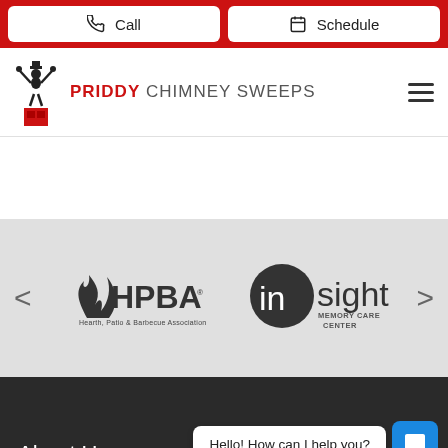Call | Schedule
[Figure (logo): Priddy Chimney Sweeps logo with chimney sweep figure silhouette]
PRIDDY CHIMNEY SWEEPS
[Figure (logo): HPBA - Hearth, Patio & Barbecue Association logo]
[Figure (logo): Insight Memory Care Center logo]
Hello! How can I help you?
About Us